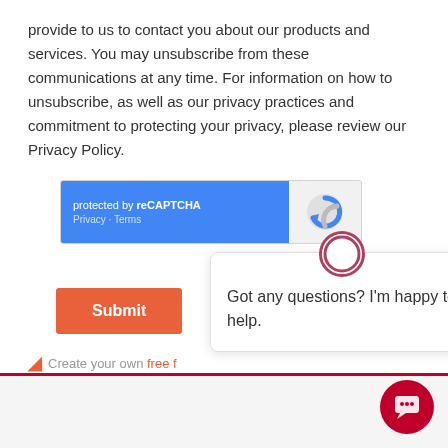provide to us to contact you about our products and services. You may unsubscribe from these communications at any time. For information on how to unsubscribe, as well as our privacy practices and commitment to protecting your privacy, please review our Privacy Policy.
[Figure (other): reCAPTCHA widget: blue left panel with text 'protected by reCAPTCHA' and links 'Privacy · Terms', gray right panel with reCAPTCHA logo]
[Figure (other): Orange Submit button]
Create your own free f...
[Figure (other): Chat popup overlay: circle avatar icon at top, X close button, text 'Got any questions? I'm happy to help.']
[Figure (other): Pink/red circular chat FAB button at bottom right]